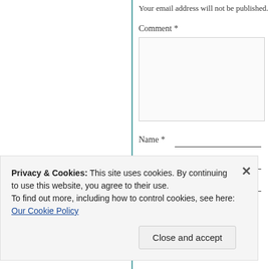Your email address will not be published.
Comment *
Name *
Email *
Website
Post Comment
Privacy & Cookies: This site uses cookies. By continuing to use this website, you agree to their use.
To find out more, including how to control cookies, see here: Our Cookie Policy
Close and accept